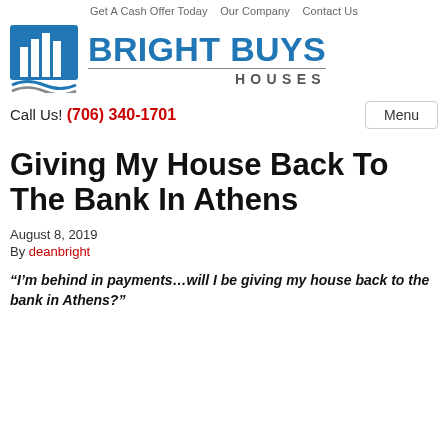Get A Cash Offer Today   Our Company   Contact Us
[Figure (logo): Bright Buys Houses logo with blue building icon and stylized text]
Call Us! (706) 340-1701    Menu
Giving My House Back To The Bank In Athens
August 8, 2019
By deanbright
“I’m behind in payments…will I be giving my house back to the bank in Athens?”